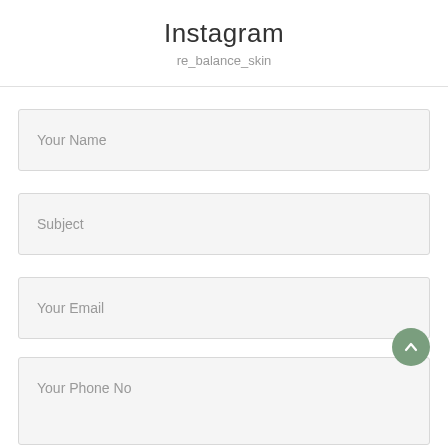Instagram
re_balance_skin
Your Name
Subject
Your Email
Your Phone No